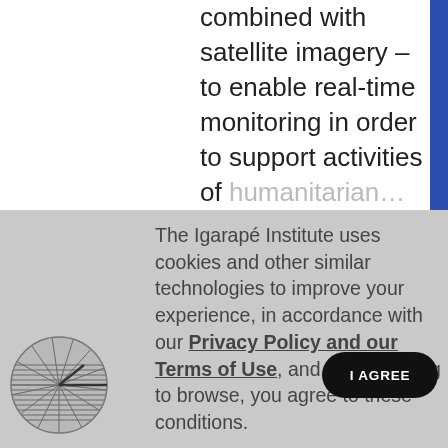combined with satellite imagery – to enable real-time monitoring in order to support activities of humanitarian...
The Igarapé Institute uses cookies and other similar technologies to improve your experience, in accordance with our Privacy Policy and our Terms of Use, and by continuing to browse, you agree to these conditions.